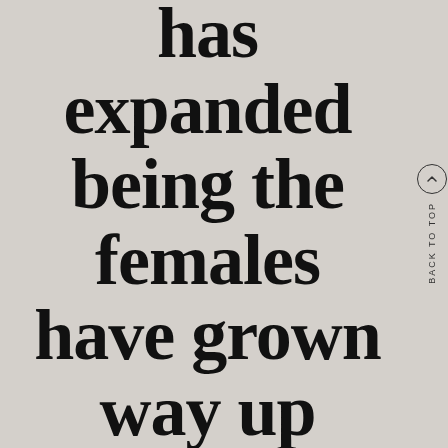has expanded being the females have grown way up accustomed to